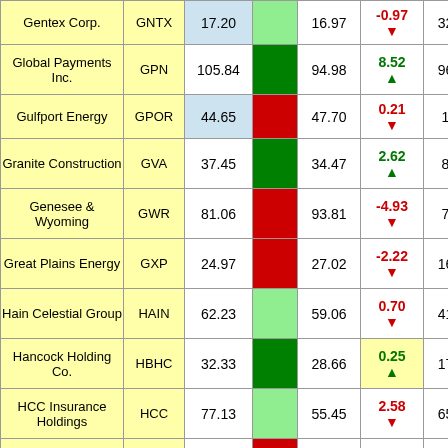| Company | Ticker | Price | Chart | Target | Change | Rank |
| --- | --- | --- | --- | --- | --- | --- |
| Gentex Corp. | GNTX | 17.20 |  | 16.97 | -0.97 ▼ | 32 |
| Global Payments Inc. | GPN | 105.84 |  | 94.98 | 8.52 ▲ | 96 |
| Gulfport Energy | GPOR | 44.65 |  | 47.70 | 0.21 ▼ | 1 |
| Granite Construction | GVA | 37.45 |  | 34.47 | 2.62 ▲ | 8 |
| Genesee & Wyoming | GWR | 81.06 |  | 93.81 | -4.93 ▼ | 7 |
| Great Plains Energy | GXP | 24.97 |  | 27.02 | -2.22 ▼ | 16 |
| Hain Celestial Group | HAIN | 62.23 |  | 59.06 | 0.70 ▼ | 41 |
| Hancock Holding Co. | HBHC | 32.33 |  | 28.66 | 0.25 ▲ | 17 |
| HCC Insurance Holdings | HCC | 77.13 |  | 55.45 | 2.58 ▼ | 65 |
| Hawaiian Electric | HE | 30.81 |  | 32.04 | -2.96 | 4 |